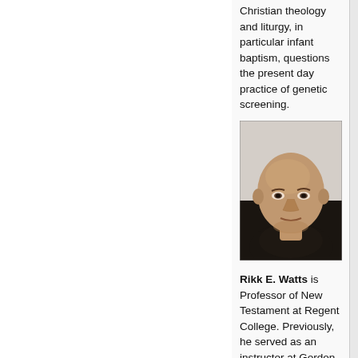Christian theology and liturgy, in particular infant baptism, questions the present day practice of genetic screening.
[Figure (photo): Black and white portrait photo of Rikk E. Watts, a bald man facing slightly to the side, wearing a dark top]
Rikk E. Watts is Professor of New Testament at Regent College. Previously, he served as an instructor at Gordon-Conwell